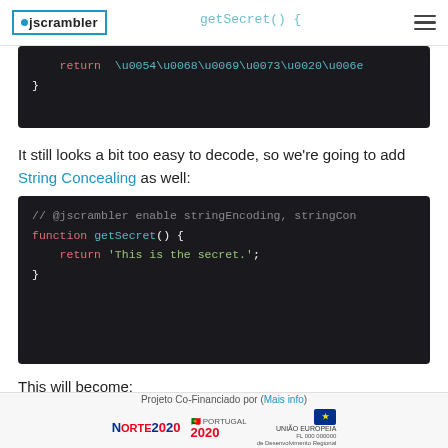jscrambler
[Figure (screenshot): Dark code editor showing partial function with return statement containing Unicode escape sequences: return \u0054\u0068\u0069\u0073\u0020\u006e... and closing brace]
It still looks a bit too easy to decode, so we're going to add String Concealing as well:
[Figure (screenshot): Dark code editor showing: // @jscrambler enable stringEncoding, stringCon... | function getSecret() { | return 'This is the secret.'; | }]
This will become:
[Figure (screenshot): Partial dark code block at bottom of page]
Projeto Co-Financiado por (Mais info) — Norte 2020, Portugal 2020, União Europeia logos